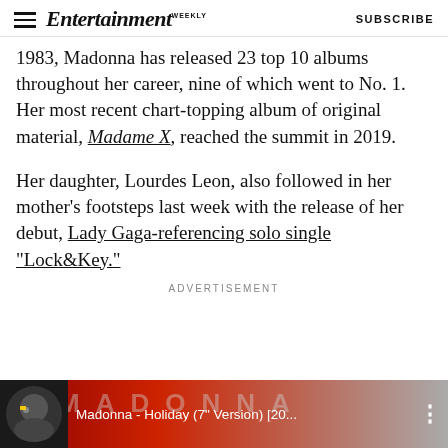Entertainment Weekly — SUBSCRIBE
1983, Madonna has released 23 top 10 albums throughout her career, nine of which went to No. 1. Her most recent chart-topping album of original material, Madame X, reached the summit in 2019.
Her daughter, Lourdes Leon, also followed in her mother's footsteps last week with the release of her debut, Lady Gaga-referencing solo single "Lock&Key."
ADVERTISEMENT
[Figure (screenshot): Media player banner showing Madonna - Holiday (7" Version) [20... with album art thumbnail and three-dot menu icon. Red and grey gradient background with 'MADONNA' text overlay.]